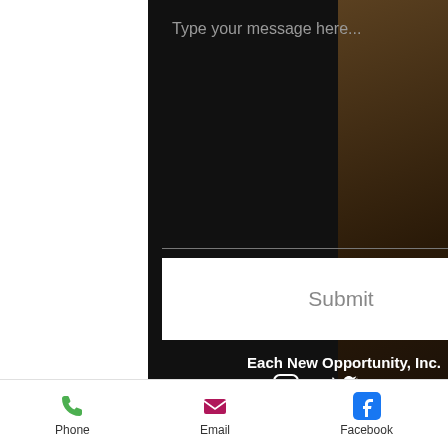Type your message here...
Submit
[Figure (infographic): Social media icons: Instagram, Twitter, Facebook (white on black background)]
Each New Opportunity, Inc.
[Figure (infographic): Social media icons: Instagram, Twitter, Facebook (white on black background)]
Phone   Email   Facebook